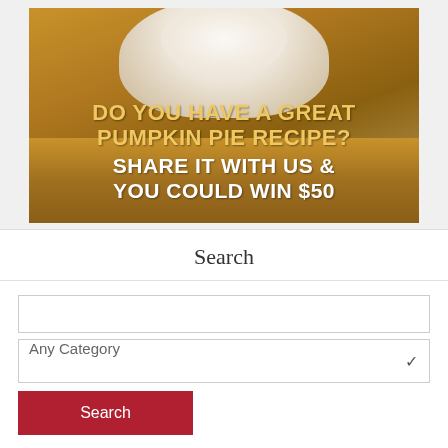[Figure (photo): Pumpkin pie with whipped cream on top. Text overlay reads: DO YOU HAVE A GREAT PUMPKIN PIE RECIPE? SHARE IT WITH US & YOU COULD WIN $50]
Search
Any Category
Search
Latest on Pinterest